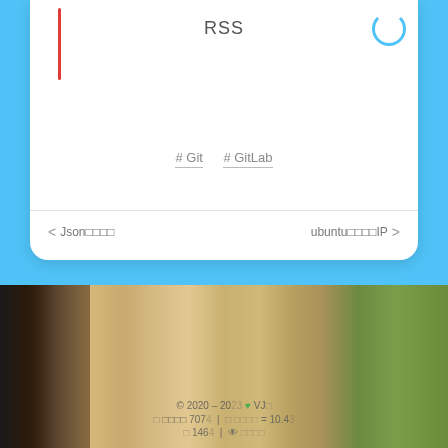RSS
# Git  # GitLab
< Json□□□□   ubuntu□□□□IP >
[Figure (screenshot): Photo of person wearing smartwatch holding bicycle, with floral dress in background, outdoor setting]
© 2020 – 2023 ❤ VJ | □ □□□□ 7074 | □ □□□□ = 10.43 | □ 1464 | 👁 □□□□